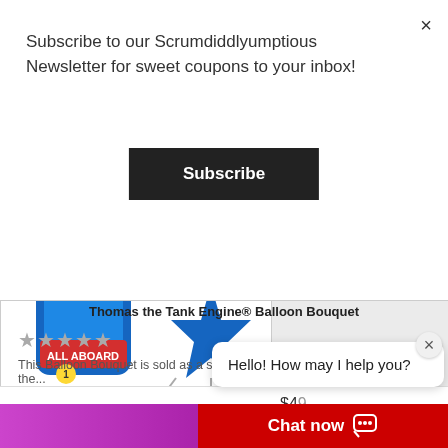Subscribe to our Scrumdiddlyumptious Newsletter for sweet coupons to your inbox!
Subscribe
[Figure (photo): Thomas the Tank Engine balloon bouquet product image showing colorful balloons including a Thomas All Aboard balloon and blue star balloon]
Thomas the Tank Engine® Balloon Bouquet
★★★★★
This Balloon Bouquet is sold as a set and includes the JUMBO Thomas the...
$49
Hello! How may I help you?
Chat now